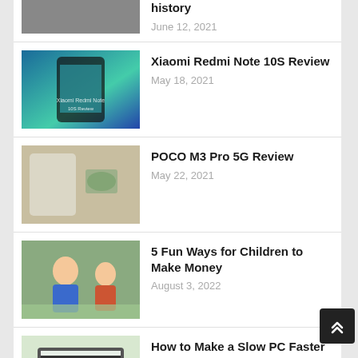history — June 12, 2021
Xiaomi Redmi Note 10S Review — May 18, 2021
POCO M3 Pro 5G Review — May 22, 2021
5 Fun Ways for Children to Make Money — August 3, 2022
How to Make a Slow PC Faster — July 31, 2022
7 Best Money Making Apps for